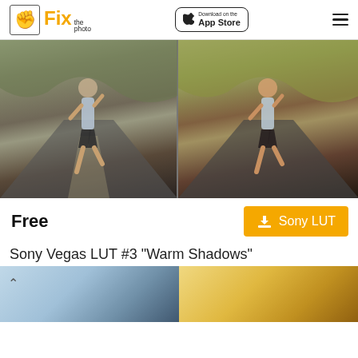Fix the photo | Download on the App Store
[Figure (photo): Before/after comparison of a woman running on a road — left side shows original, right side shows color-graded version with warmer tones]
Free
Sony LUT
Sony Vegas LUT #3 "Warm Shadows"
[Figure (photo): Bottom before/after preview images partially visible — left shows a water/landscape scene, right shows a warm orange-tinted landscape]